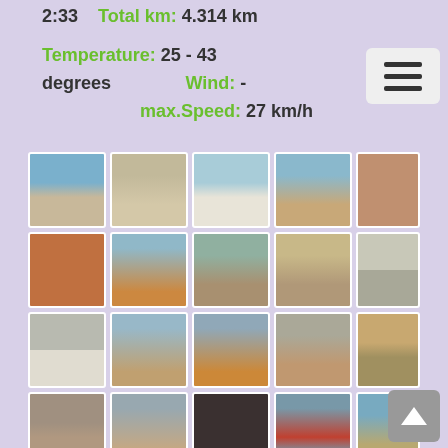2:33   Total km: 4.314 km
Temperature: 25 - 43 degrees   Wind: -   max.Speed: 27 km/h
[Figure (photo): Grid of 25 travel/safari road trip photos showing desert roads, red sand dunes, dry savanna landscapes, baobab trees, a person, a lodge/shop, and scenic African terrain.]